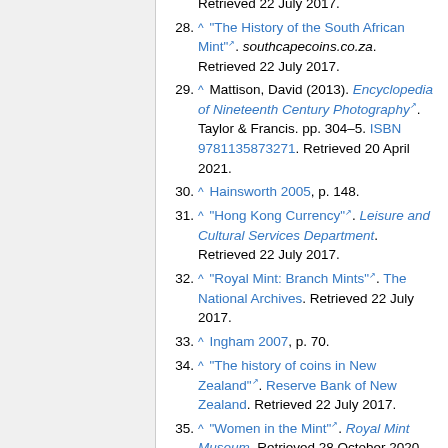28. ^ "The History of the South African Mint". southcapecoins.co.za. Retrieved 22 July 2017.
29. ^ Mattison, David (2013). Encyclopedia of Nineteenth Century Photography. Taylor & Francis. pp. 304–5. ISBN 9781135873271. Retrieved 20 April 2021.
30. ^ Hainsworth 2005, p. 148.
31. ^ "Hong Kong Currency". Leisure and Cultural Services Department. Retrieved 22 July 2017.
32. ^ "Royal Mint: Branch Mints". The National Archives. Retrieved 22 July 2017.
33. ^ Ingham 2007, p. 70.
34. ^ "The history of coins in New Zealand". Reserve Bank of New Zealand. Retrieved 22 July 2017.
35. ^ "Women in the Mint". Royal Mint Museum. Retrieved 28 October 2020.